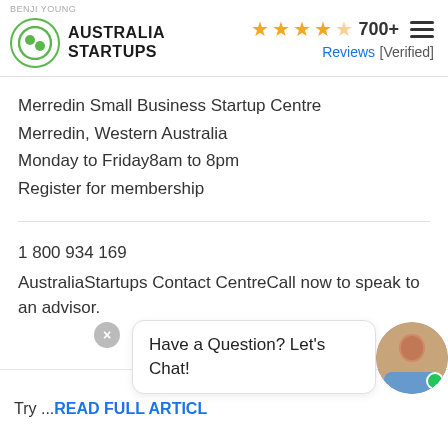AUSTRALIA STARTUPS — 700+ Reviews [Verified]
Merredin Small Business Startup Centre
Merredin, Western Australia
Monday to Friday8am to 8pm
Register for membership
1 800 934 169
AustraliaStartups Contact CentreCall now to speak to an advisor.
Try ...READ FULL ARTICL
Have a Question? Let's Chat!